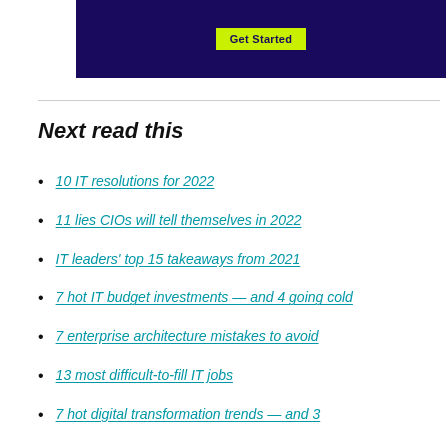[Figure (screenshot): Dark navy/purple banner with a 'Get Started' button in yellow-green]
Next read this
10 IT resolutions for 2022
11 lies CIOs will tell themselves in 2022
IT leaders' top 15 takeaways from 2021
7 hot IT budget investments — and 4 going cold
7 enterprise architecture mistakes to avoid
13 most difficult-to-fill IT jobs
7 hot digital transformation trends — and 3